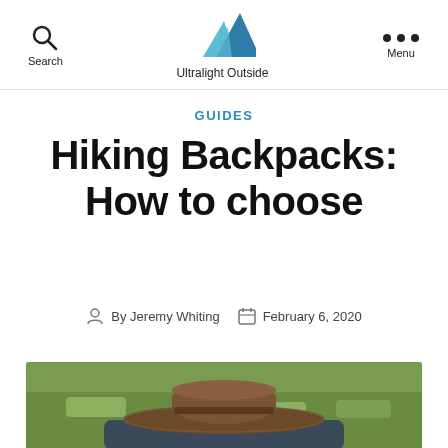Search | Ultralight Outside | Menu
GUIDES
Hiking Backpacks: How to choose
By Jeremy Whiting  February 6, 2020
[Figure (photo): A brown wide-brim hat resting on a dark backpack/jacket on a grassy field background]